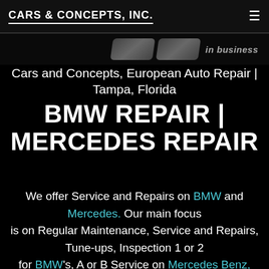Cars & Concepts, Inc.
[Figure (screenshot): Partial banner strip showing two silver badge/shield shapes and the text 'in business' in italic gray text on a dark background]
Cars and Concepts, European Auto Repair | Tampa, Florida
BMW REPAIR | MERCEDES REPAIR
We offer Service and Repairs on BMW and Mercedes. Our main focus is on Regular Maintenance, Service and Repairs, Tune-ups, Inspection 1 or 2 for BMW's, A or B Service on Mercedes Benz, Brake Service and General repair.